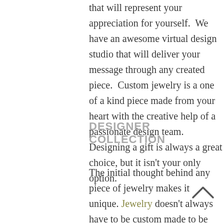that will represent your appreciation for yourself.  We have an awesome virtual design studio that will deliver your message through any created piece.  Custom jewelry is a one of a kind piece made from your heart with the creative help of a passionate design team.  Designing a gift is always a great choice, but it isn't your only option.
DESIGNER COLLECTION
The initial thought behind any piece of jewelry makes it unique. Jewelry doesn't always have to be custom made to be one of a kind.  Master Jewelers carries a wide